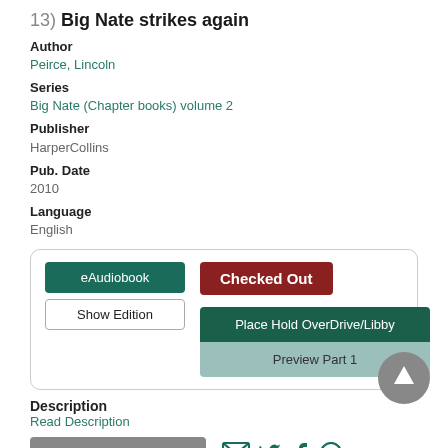13) Big Nate strikes again
Author
Peirce, Lincoln
Series
Big Nate (Chapter books) volume 2
Publisher
HarperCollins
Pub. Date
2010
Language
English
eAudiobook | Checked Out | Show Edition | Place Hold OverDrive/Libby | Preview Part 1
Description
Read Description
More Info | Add to list